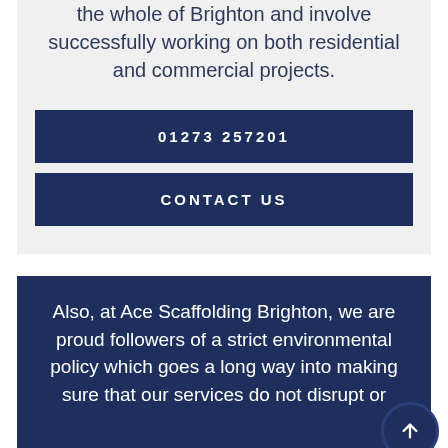the whole of Brighton and involve successfully working on both residential and commercial projects.
01273 257201
CONTACT US
Also, at Ace Scaffolding Brighton, we are proud followers of a strict environmental policy which goes a long way into making sure that our services do not disrupt or